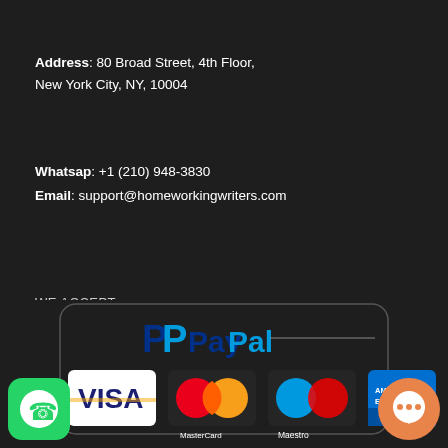Address: 80 Broad Street, 4th Floor, New York City, NY, 10004
Whatsap: +1 (210) 948-3830
Email: support@homeworkingwriters.com
WE ACCEPT
[Figure (logo): Payment method logos: PayPal, Visa, MasterCard, Maestro, American Express, WhatsApp floating icon, chat bubble icon]